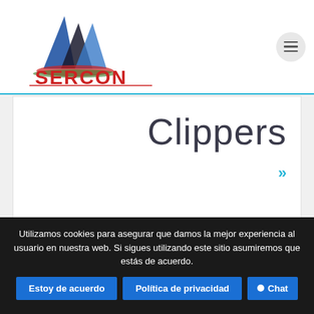[Figure (logo): SERCON logo with triangular building graphic and red text reading SERCON, subtitle CONSULTORIAS Y SERVICIOS ESPECIALIZADOS D&V SAS]
Clippers
»
Utilizamos cookies para asegurar que damos la mejor experiencia al usuario en nuestra web. Si sigues utilizando este sitio asumiremos que estás de acuerdo.
Estoy de acuerdo | Política de privacidad | Chat